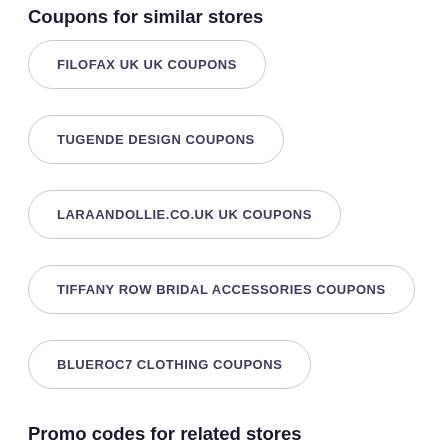Coupons for similar stores
FILOFAX UK UK COUPONS
TUGENDE DESIGN COUPONS
LARAANDOLLIE.CO.UK UK COUPONS
TIFFANY ROW BRIDAL ACCESSORIES COUPONS
BLUEROC7 CLOTHING COUPONS
Promo codes for related stores
CLAXTON+CO COUPONS